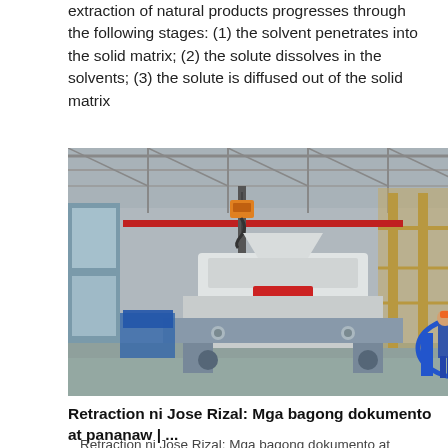extraction of natural products progresses through the following stages: (1) the solvent penetrates into the solid matrix; (2) the solute dissolves in the solvents; (3) the solute is diffused out of the solid matrix
[Figure (photo): Industrial factory interior showing large mining or crushing machinery (white/gray) being assembled or installed, with workers in blue uniforms and hard hats, overhead crane hook visible, multi-level steel structure with yellow scaffolding on right side.]
Retraction ni Jose Rizal: Mga bagong dokumento at pananaw | ...
Retraction ni Jose Rizal: Mga bagong dokumento at